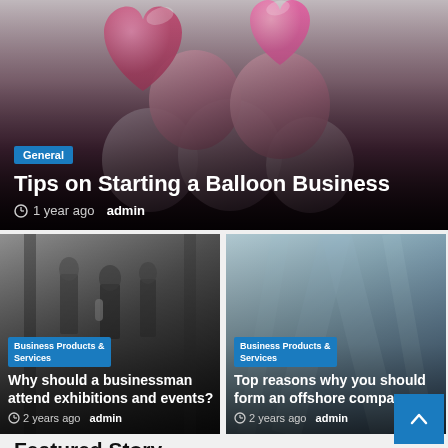[Figure (photo): Top featured article card with pink and rose-gold heart-shaped balloons in the background, overlaid with article metadata]
General
Tips on Starting a Balloon Business
1 year ago  admin
[Figure (photo): Small card left: people at a business exhibition or event, with overlay text]
Business Products & Services
Why should a businessman attend exhibitions and events?
2 years ago  admin
[Figure (photo): Small card right: blurred office corridor background with overlay text]
Business Products & Services
Top reasons why you should form an offshore company
2 years ago  admin
Featured Story